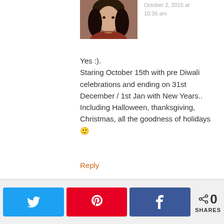[Figure (photo): Profile photo of a woman with dark curly hair wearing a red/rust colored top]
October 2, 2015 at 10:35 am
Yes :).
Staring October 15th with pre Diwali celebrations and ending on 31st December / 1st Jan with New Years.. Including Halloween, thanksgiving, Christmas, all the goodness of holidays 🙂
Reply